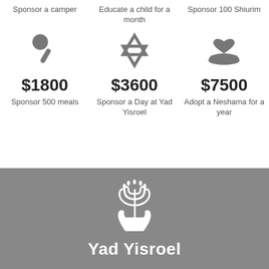Sponsor a camper
Educate a child for a month
Sponsor 100 Shiurim
$1800
$3600
$7500
Sponsor 500 meals
Sponsor a Day at Yad Yisroel
Adopt a Neshama for a year
[Figure (logo): Yad Yisroel logo: white menorah with hands on grey background]
Yad Yisroel